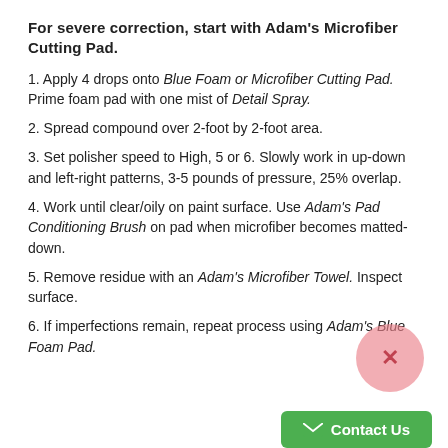For severe correction, start with Adam's Microfiber Cutting Pad.
1. Apply 4 drops onto Blue Foam or Microfiber Cutting Pad. Prime foam pad with one mist of Detail Spray.
2. Spread compound over 2-foot by 2-foot area.
3. Set polisher speed to High, 5 or 6. Slowly work in up-down and left-right patterns, 3-5 pounds of pressure, 25% overlap.
4. Work until clear/oily on paint surface. Use Adam's Pad Conditioning Brush on pad when microfiber becomes matted-down.
5. Remove residue with an Adam's Microfiber Towel. Inspect surface.
6. If imperfections remain, repeat process using Adam's Blue Foam Pad.